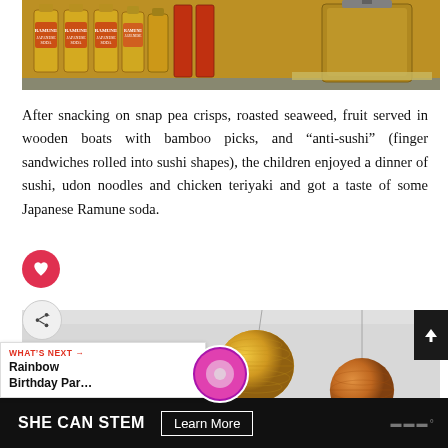[Figure (photo): Photo of multiple Ramune Japanese soda bottles lined up on a shelf, with a large glass jar/dispenser on the right side]
After snacking on snap pea crisps, roasted seaweed, fruit served in wooden boats with bamboo picks, and “anti-sushi” (finger sandwiches rolled into sushi shapes), the children enjoyed a dinner of sushi, udon noodles and chicken teriyaki and got a taste of some Japanese Ramune soda.
[Figure (photo): Photo of colorful paper lanterns hanging from the ceiling — gold/yellow and orange lanterns visible against a light background]
WHAT’S NEXT → Rainbow Birthday Par...
SHE CAN STEM  Learn More